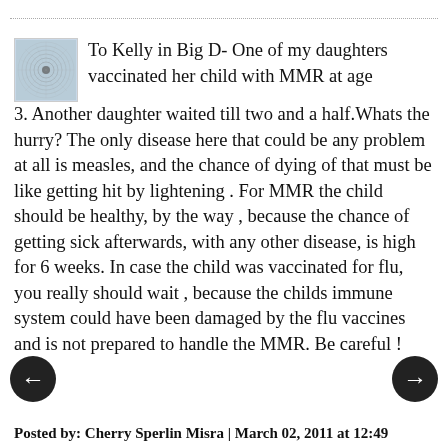To Kelly in Big D- One of my daughters vaccinated her child with MMR at age 3. Another daughter waited till two and a half.Whats the hurry? The only disease here that could be any problem at all is measles, and the chance of dying of that must be like getting hit by lightening . For MMR the child should be healthy, by the way , because the chance of getting sick afterwards, with any other disease, is high for 6 weeks. In case the child was vaccinated for flu, you really should wait , because the childs immune system could have been damaged by the flu vaccines and is not prepared to handle the MMR. Be careful !
Posted by: Cherry Sperlin Misra | March 02, 2011 at 12:49